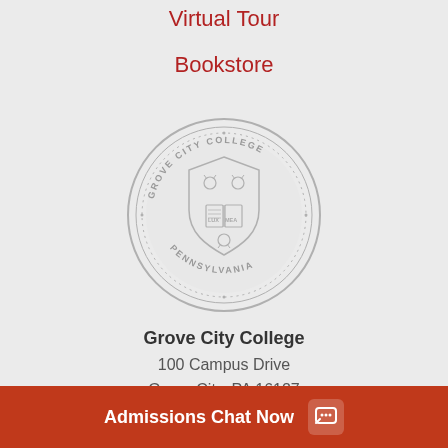Virtual Tour
Bookstore
[Figure (logo): Grove City College circular seal in gray, showing shield with open book labeled LUX MEA, surrounded by text GROVE CITY COLLEGE PENNSYLVANIA with decorative border]
Grove City College
100 Campus Drive
Grove City, PA  16127
Admissions Chat Now